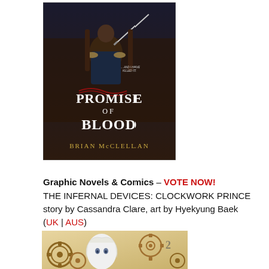[Figure (illustration): Book cover of 'Promise of Blood' by Brian McClellan. Dark atmospheric cover showing a seated military figure holding a sword, with text '...AND I HAVE KILLED IT.' The title 'PROMISE OF BLOOD' is in large white serif font, and the author name 'BRIAN McCLELLAN' appears in gold at the bottom.]
Graphic Novels & Comics – VOTE NOW!
THE INFERNAL DEVICES: CLOCKWORK PRINCE
story by Cassandra Clare, art by Hyekyung Baek
(UK | AUS)
[Figure (illustration): Partial book cover showing a manga-style illustration with steampunk gears and a white-haired anime character. The number '2' is visible, indicating it is volume 2 of a graphic novel series.]